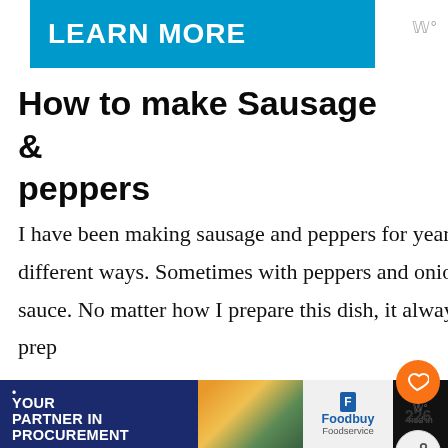[Figure (screenshot): Blue ad banner with 'LEARN MORE' text and a small logo icon to the right]
How to make Sausage & peppers
I have been making sausage and peppers for years and have served it in many different ways. Sometimes with peppers and onions, just peppers, with sauce or no sauce. No matter how I prepare this dish, it always comes out perfect. How have I prep...
[Figure (infographic): Orange heart/like button with share icon and count 226, plus 'WHAT'S NEXT' overlay showing 'How to Make Roasted...' with a circular thumbnail]
[Figure (screenshot): Bottom advertisement banner: dark blue background with 'YOUR PARTNER IN PROCUREMENT' text, a food image, Foodbuy Foodservice logo, and a dark panel on the right]